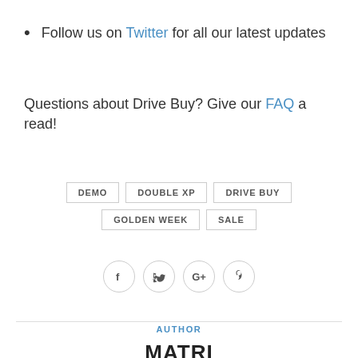Follow us on Twitter for all our latest updates
Questions about Drive Buy? Give our FAQ a read!
DEMO  DOUBLE XP  DRIVE BUY  GOLDEN WEEK  SALE
[Figure (other): Social share icons: Facebook, Twitter, Google+, Pinterest]
AUTHOR MATRI
AUTHOR
MATRI